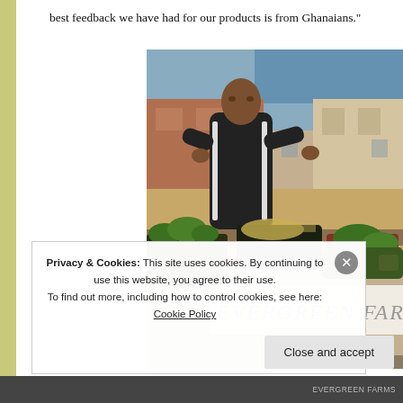best feedback we have had for our products is from Ghanaians."
[Figure (photo): A man arranging vegetables and produce at an outdoor market stall with an 'EVERGREEN FARMS' sign visible, surrounded by leafy greens and other vegetables in trays and baskets]
Privacy & Cookies: This site uses cookies. By continuing to use this website, you agree to their use.
To find out more, including how to control cookies, see here: Cookie Policy
Close and accept